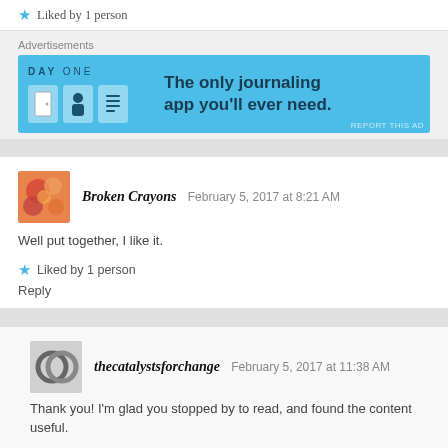Liked by 1 person
[Figure (infographic): Day One journaling app advertisement banner with light blue background, app icons, and text 'The only journaling app you'll ever need.']
Advertisements
Broken Crayons   February 5, 2017 at 8:21 AM
Well put together, I like it.
Liked by 1 person
Reply
thecatalystsforchange   February 5, 2017 at 11:38 AM
Thank you! I'm glad you stopped by to read, and found the content useful.
Liked by 1 person